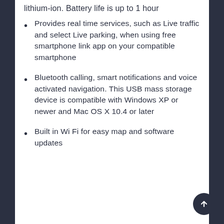lithium-ion. Battery life is up to 1 hour
Provides real time services, such as Live traffic and select Live parking, when using free smartphone link app on your compatible smartphone
Bluetooth calling, smart notifications and voice activated navigation. This USB mass storage device is compatible with Windows XP or newer and Mac OS X 10.4 or later
Built in Wi Fi for easy map and software updates